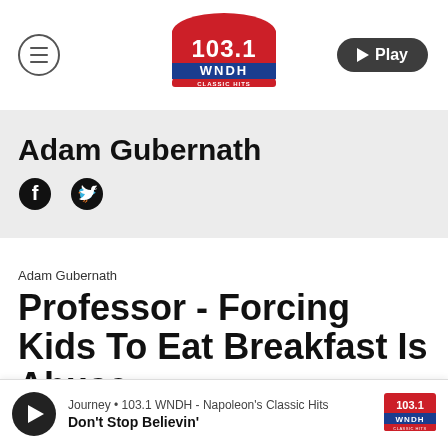[Figure (logo): 103.1 WNDH Classic Hits radio station logo in red, white and blue]
Adam Gubernath
[Figure (logo): Facebook icon circle]
[Figure (logo): Twitter bird icon]
Adam Gubernath
Professor - Forcing Kids To Eat Breakfast Is Abuse
Journey • 103.1 WNDH - Napoleon's Classic Hits
Don't Stop Believin'
[Figure (logo): 103.1 WNDH small logo in player bar]